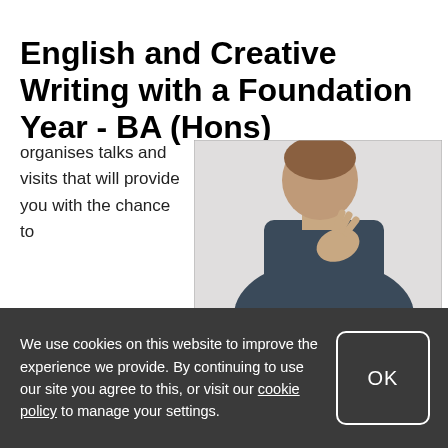ENGLISH AND CREATIVE WRITING WITH A FOUNDATION YEAR - BA (HONS)
organises talks and visits that will provide you with the chance to learn from industry experts with guest masterclasses and visiting authors.
[Figure (photo): A person in a dark knit sweater with hand raised near their chin, photographed against a light grey background]
Novelist Jim Grace delivered a series of workshops with
We use cookies on this website to improve the experience we provide. By continuing to use our site you agree to this, or visit our cookie policy to manage your settings.